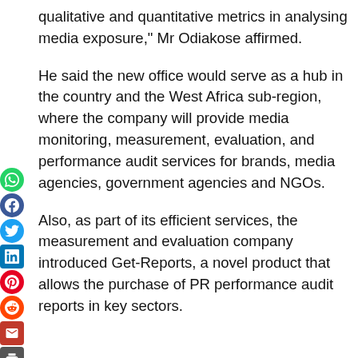qualitative and quantitative metrics in analysing media exposure," Mr Odiakose affirmed.
He said the new office would serve as a hub in the country and the West Africa sub-region, where the company will provide media monitoring, measurement, evaluation, and performance audit services for brands, media agencies, government agencies and NGOs.
Also, as part of its efficient services, the measurement and evaluation company introduced Get-Reports, a novel product that allows the purchase of PR performance audit reports in key sectors.